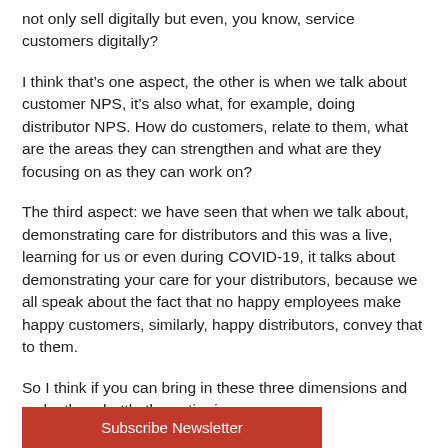not only sell digitally but even, you know, service customers digitally?
I think that’s one aspect, the other is when we talk about customer NPS, it’s also what, for example, doing distributor NPS. How do customers, relate to them, what are the areas they can strengthen and what are they focusing on as they can work on?
The third aspect: we have seen that when we talk about, demonstrating care for distributors and this was a live, learning for us or even during COVID-19, it talks about demonstrating your care for your distributors, because we all speak about the fact that no happy employees make happy customers, similarly, happy distributors, convey that to them.
So I think if you can bring in these three dimensions and make them bottle the entire journey
Subscribe Newsletter